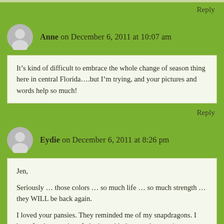Reply
Anne on December 6, 2011 at 10:07 am
It’s kind of difficult to embrace the whole change of season thing here in central Florida….but I’m trying, and your pictures and words help so much!
Reply
Eydie on December 6, 2011 at 8:26 pm
Jen,

Seriously … those colors … so much life … so much strength … they WILL be back again.

I loved your pansies. They reminded me of my snapdragons. I have fond memories of playing with the snapdragons in my grandmother’s